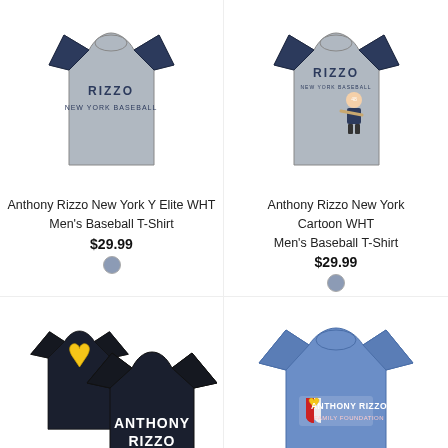[Figure (photo): Anthony Rizzo New York Y Elite WHT Men's Baseball T-Shirt - gray raglan with navy sleeves]
[Figure (photo): Anthony Rizzo New York Cartoon WHT Men's Baseball T-Shirt - gray raglan with navy sleeves and cartoon graphic]
Anthony Rizzo New York Y Elite WHT
Men's Baseball T-Shirt
Anthony Rizzo New York Cartoon WHT
Men's Baseball T-Shirt
$29.99
$29.99
[Figure (photo): Anthony Rizzo navy t-shirt with yellow ribbon graphic and name graphic on front]
[Figure (photo): Anthony Rizzo Foundation blue t-shirt with logo]